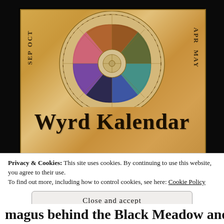[Figure (illustration): Wyrd Kalendar book cover image showing a colorful circular wheel/calendar with month labels (OCT, SEP, APR, MAY, JUN visible) on a parchment background, with ornate illustrated sections in the wheel depicting various colors and mythological imagery. The title 'Wyrd Kalendar' is displayed in large decorative serif font at the bottom of the cover.]
Privacy & Cookies: This site uses cookies. By continuing to use this website, you agree to their use.
To find out more, including how to control cookies, see here: Cookie Policy
Close and accept
magus behind the Black Meadow and